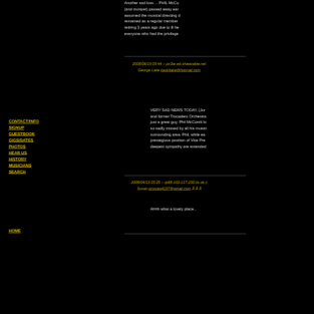Another sad loss ... PHIL McCo (and trumpet) passed away ear assumed the musical directing d remained as a regular member retiring 3 years ago due to ill he everyone who had the privilage
2008/06/19 09:44 -- px3ar.ed.shawcable.net George Lake keokilake@hotmail.com
VERY SAD NEWS TODAY, (Jur and former Trocadero Orchestra just a great guy, Phil McComb lo so sadly missed by all his musici surrounding area. Phil, while ea prestegious position of Vice Pre deepest sympathy are extended
CONTACT/INFO
SIGNUP
GUESTBOOK
GIGS/DATES
PHOTOS
HEAR US
HISTORY
MUSICIANS
SEARCH
HOME
2008/04/13 05:25 -- ip68-102-117-230.ks.ok.c Susan prissies4197@gmail.com Â Â Â
Ahhh what a lovely place...